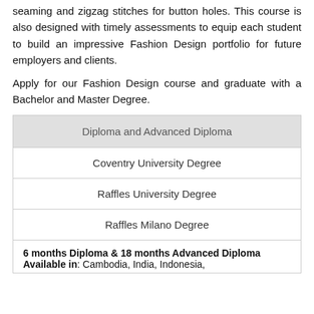seaming and zigzag stitches for button holes. This course is also designed with timely assessments to equip each student to build an impressive Fashion Design portfolio for future employers and clients.
Apply for our Fashion Design course and graduate with a Bachelor and Master Degree.
| Diploma and Advanced Diploma |
| --- |
| Coventry University Degree |
| Raffles University Degree |
| Raffles Milano Degree |
| 6 months Diploma & 18 months Advanced Diploma
Available in: Cambodia, India, Indonesia, |